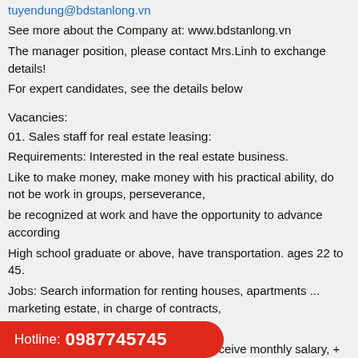tuyendung@bdstanlong.vn
See more about the Company at: www.bdstanlong.vn
The manager position, please contact Mrs.Linh to exchange details!
For expert candidates, see the details below
Vacancies:
01. Sales staff for real estate leasing:
Requirements: Interested in the real estate business.
Like to make money, make money with his practical ability, do not be work in groups, perseverance,
be recognized at work and have the opportunity to advance according
High school graduate or above, have transportation. ages 22 to 45.
Jobs: Search information for renting houses, apartments ... marketing estate, in charge of contracts,
customer care during the rental process.
Benefits: Good working environment, receive monthly salary, + Comm
health insurance, social insurance, as t
eal Estate.
Hotline: 0987745745